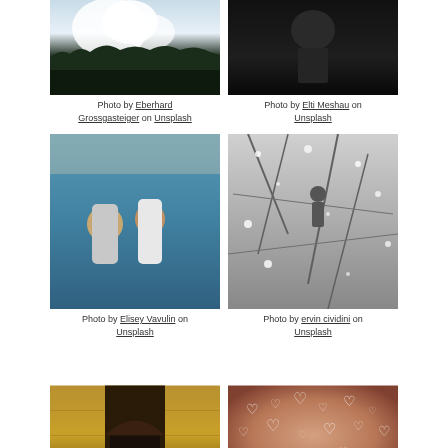[Figure (photo): Forest silhouette with bright cloudy sky]
Photo by Eberhard Grossgasteiger on Unsplash
[Figure (photo): Dark silhouette of person against dark background]
Photo by Elti Meshau on Unsplash
[Figure (photo): Two people standing in water, one in white shirt]
Photo by Elisey Vavulin on Unsplash
[Figure (photo): Black and white photo of person among snowy branches]
Photo by ervin cividini on Unsplash
[Figure (photo): Stone archway corridor with arched door]
[Figure (photo): Bokeh hearts pink and white on warm background]